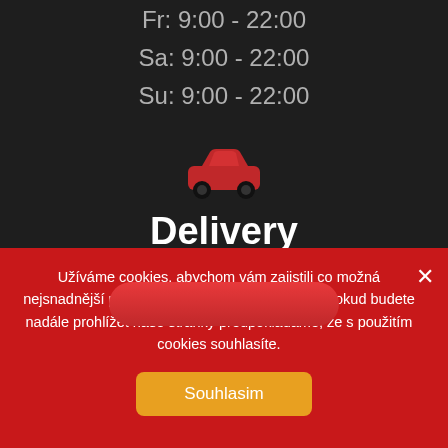Fr: 9:00 - 22:00
Sa: 9:00 - 22:00
Su: 9:00 - 22:00
[Figure (illustration): Red car icon used as delivery symbol]
Delivery
Užíváme cookies, abychom vám zajistili co možná nejsnadnější použití našich webových stránek. Pokud budete nadále prohlížet naše stránky předpokládáme, že s použitím cookies souhlasíte.
Souhlasim